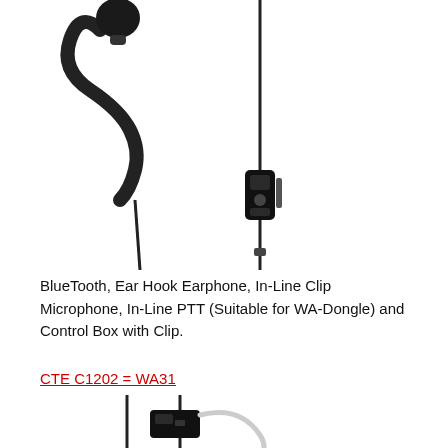[Figure (photo): Black ear hook earphone with in-line clip microphone, in-line PTT control module, and cable with connector — product photo on white background]
BlueTooth, Ear Hook Earphone, In-Line Clip Microphone, In-Line PTT (Suitable for WA-Dongle) and Control Box with Clip.
CTE C1202 = WA31
[Figure (photo): Black in-line PTT/control module with clear acoustic tube earpiece — product photo on white background, partially visible]